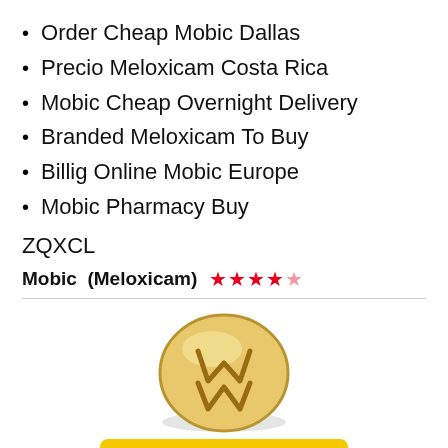Order Cheap Mobic Dallas
Precio Meloxicam Costa Rica
Mobic Cheap Overnight Delivery
Branded Meloxicam To Buy
Billig Online Mobic Europe
Mobic Pharmacy Buy
ZQXCL
Mobic (Meloxicam) ★★★★☆
[Figure (photo): A golden round pill/tablet with an M logo embossed on it]
BUY NOW